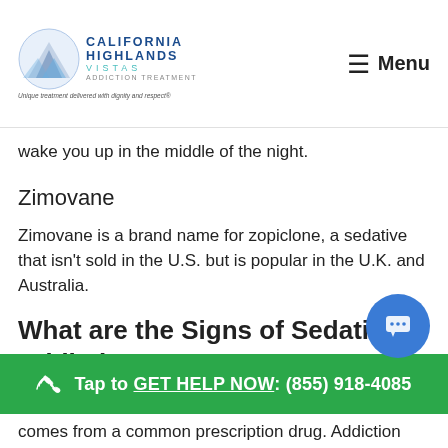California Highlands Vistas Addiction Treatment — Unique treatment delivered with dignity and respect® | Menu
wake you up in the middle of the night.
Zimovane
Zimovane is a brand name for zopiclone, a sedative that isn't sold in the U.S. but is popular in the U.K. and Australia.
What are the Signs of Sedative Addiction?
Tap to GET HELP NOW: (855) 918-4085
comes from a common prescription drug. Addiction